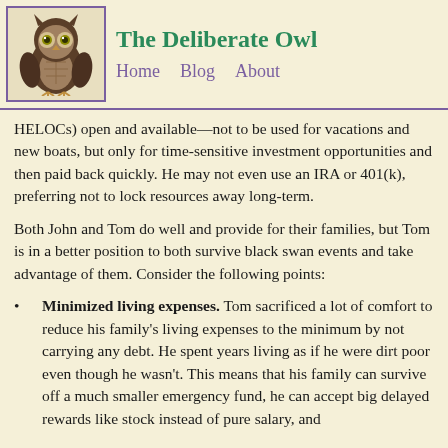The Deliberate Owl — Home  Blog  About
HELOCs) open and available—not to be used for vacations and new boats, but only for time-sensitive investment opportunities and then paid back quickly. He may not even use an IRA or 401(k), preferring not to lock resources away long-term.
Both John and Tom do well and provide for their families, but Tom is in a better position to both survive black swan events and take advantage of them. Consider the following points:
Minimized living expenses. Tom sacrificed a lot of comfort to reduce his family's living expenses to the minimum by not carrying any debt. He spent years living as if he were dirt poor even though he wasn't. This means that his family can survive off a much smaller emergency fund, he can accept big delayed rewards like stock instead of pure salary, and they can model for developing delayed...